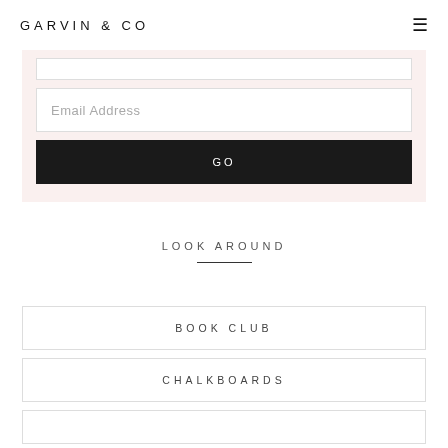GARVIN & CO
[Figure (screenshot): Email signup form with input fields and GO button on a light pink background]
LOOK AROUND
BOOK CLUB
CHALKBOARDS